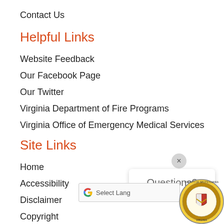Contact Us
Helpful Links
Website Feedback
Our Facebook Page
Our Twitter
Virginia Department of Fire Programs
Virginia Office of Emergency Medical Services
Site Links
Home
Accessibility
Disclaimer
Copyright
[Figure (screenshot): Questions? popup with close button (×) and Google Translate Select Language bar, with Spotsylvania County seal in bottom-right corner]